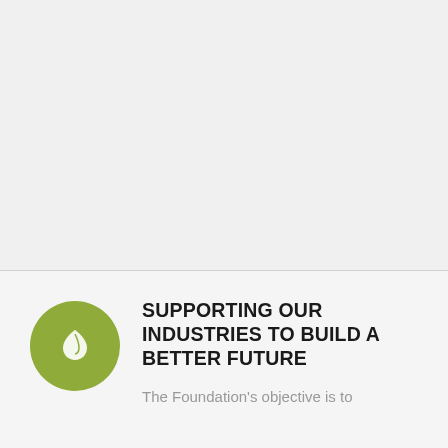[Figure (illustration): Large light gray empty area at the top portion of the page, serving as a placeholder for an image or graphic]
SUPPORTING OUR INDUSTRIES TO BUILD A BETTER FUTURE
The Foundation's objective is to